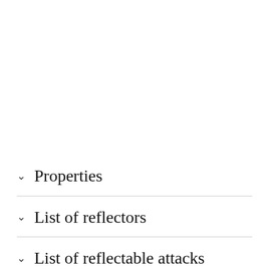Properties
List of reflectors
List of reflectable attacks